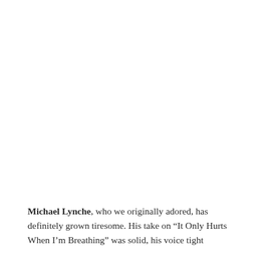Michael Lynche, who we originally adored, has definitely grown tiresome. His take on “It Only Hurts When I’m Breathing” was solid, his voice tight